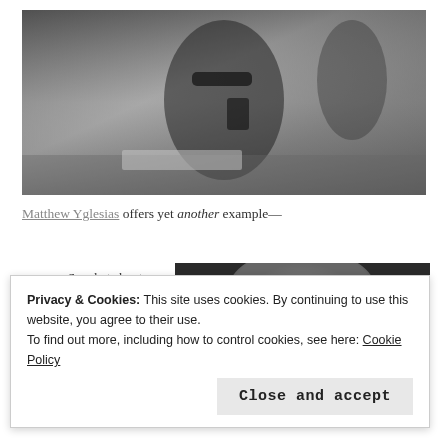[Figure (photo): Black and white photo of a woman wearing sunglasses looking at a phone, seated at a desk with papers; a man in a suit visible in background]
Matthew Yglesias offers yet another example—
So what about the charity? Well, Powell's
[Figure (photo): Black and white close-up photo of a man's face]
Privacy & Cookies: This site uses cookies. By continuing to use this website, you agree to their use.
To find out more, including how to control cookies, see here: Cookie Policy
Close and accept